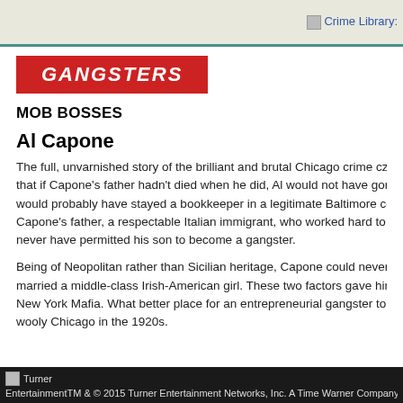Crime Library:
[Figure (logo): GANGSTERS red banner logo with italic white bold text]
MOB BOSSES
Al Capone
The full, unvarnished story of the brilliant and brutal Chicago crime cz that if Capone's father hadn't died when he did, Al would not have gor would probably have stayed a bookkeeper in a legitimate Baltimore co Capone's father, a respectable Italian immigrant, who worked hard to never have permitted his son to become a gangster.
Being of Neopolitan rather than Sicilian heritage, Capone could never married a middle-class Irish-American girl. These two factors gave hir New York Mafia. What better place for an entrepreneurial gangster to wooly Chicago in the 1920s.
Turner EntertainmentTM & © 2015 Turner Entertainment Networks, Inc. A Time Warner Company. A